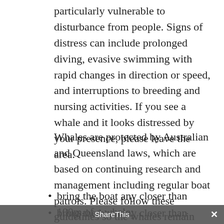particularly vulnerable to disturbance from people. Signs of distress can include prolonged diving, evasive swimming with rapid changes in direction or speed, and interruptions to breeding and nursing activities. If you see a whale and it looks distressed by your presence, please leave the area.
Whales are protected by Australian and Queensland laws, which are based on continuing research and management including regular boat patrols. Please follow these guidelines so the whales remain uninterrupted on their journey. A person in control of a boat must not:
bring the boat any closer than 100m of a whale;
bring the boat any closer than 300m of a whale